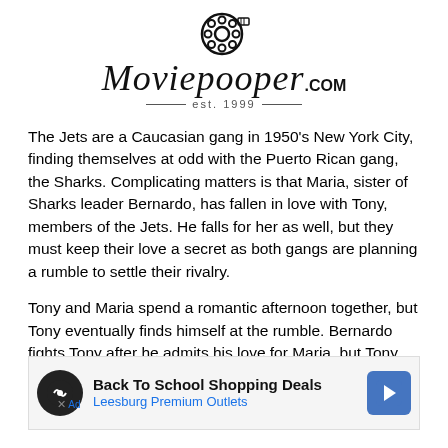[Figure (logo): Moviepooper.com logo with film reel icon, script text 'Moviepooper' with '.com' and 'est. 1999' tagline]
The Jets are a Caucasian gang in 1950's New York City, finding themselves at odd with the Puerto Rican gang, the Sharks. Complicating matters is that Maria, sister of Sharks leader Bernardo, has fallen in love with Tony, members of the Jets. He falls for her as well, but they must keep their love a secret as both gangs are planning a rumble to settle their rivalry.
Tony and Maria spend a romantic afternoon together, but Tony eventually finds himself at the rumble. Bernardo fights Tony after he admits his love for Maria, but Tony stops himself from really hurting Bernardo. Jets leader Riff en[...] with Bernar[...] ough
[Figure (screenshot): Advertisement overlay: 'Back To School Shopping Deals' / 'Leesburg Premium Outlets' with navigation arrow icon]